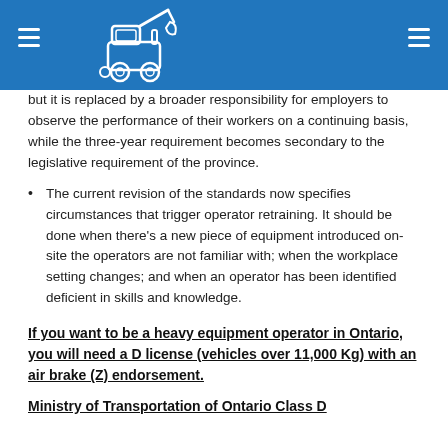but it is replaced by a broader responsibility for employers to observe the performance of their workers on a continuing basis, while the three-year requirement becomes secondary to the legislative requirement of the province.
The current revision of the standards now specifies circumstances that trigger operator retraining. It should be done when there's a new piece of equipment introduced on-site the operators are not familiar with; when the workplace setting changes; and when an operator has been identified deficient in skills and knowledge.
If you want to be a heavy equipment operator in Ontario, you will need a D license (vehicles over 11,000 Kg) with an air brake (Z) endorsement.
Ministry of Transportation of Ontario Class D